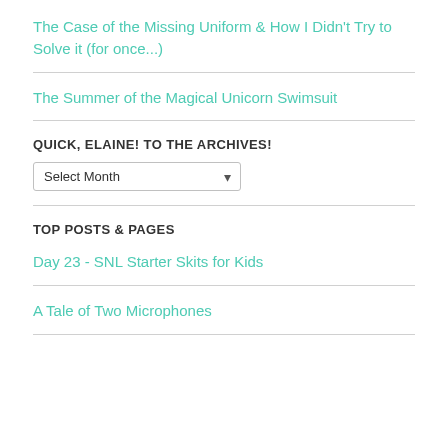The Case of the Missing Uniform & How I Didn't Try to Solve it (for once...)
The Summer of the Magical Unicorn Swimsuit
QUICK, ELAINE! TO THE ARCHIVES!
Select Month
TOP POSTS & PAGES
Day 23 - SNL Starter Skits for Kids
A Tale of Two Microphones